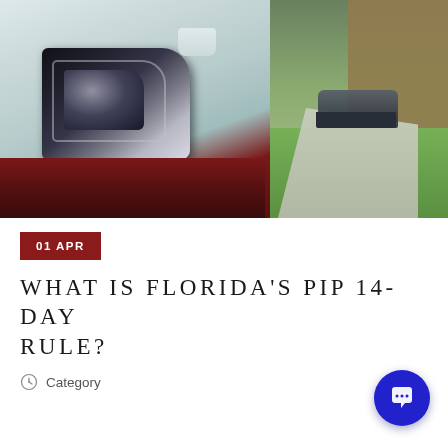[Figure (photo): Close-up photo of a white SUV/car headlight and front end, with a suburban background showing a driveway, parked dark car, lawn, and house in soft focus.]
01 APR
WHAT IS FLORIDA'S PIP 14-DAY RULE?
Category